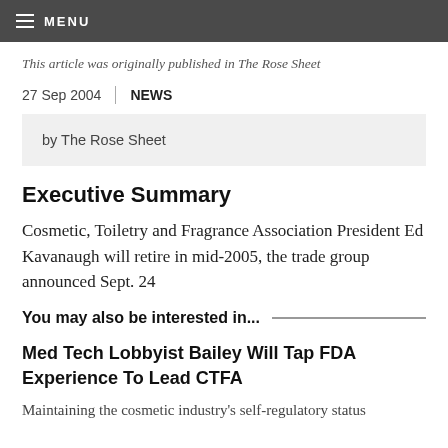MENU
This article was originally published in The Rose Sheet
27 Sep 2004 | NEWS
by The Rose Sheet
Executive Summary
Cosmetic, Toiletry and Fragrance Association President Ed Kavanaugh will retire in mid-2005, the trade group announced Sept. 24
You may also be interested in...
Med Tech Lobbyist Bailey Will Tap FDA Experience To Lead CTFA
Maintaining the cosmetic industry's self-regulatory status